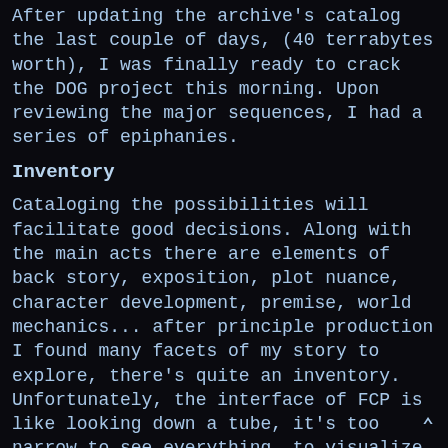After updating the archive's catalog the last couple of days, (40 terrabytes worth), I was finally ready to crack the DOG project this morning. Upon reviewing the major sequences, I had a series of epiphanies.
Inventory
Cataloging the possibilities will facilitate good decisions. Along with the main acts there are elements of back story, exposition, plot nuance, character development, premise, world mechanics... after principle production I found many facets of my story to explore, there's quite an inventory. Unfortunately, the interface of FCP is like looking down a tube, it's too narrow to see everything, to visualize the relationships between scenes. I need peripheral vision.
There's index cards certainly, but I'd also like to have images of the scenes to spread